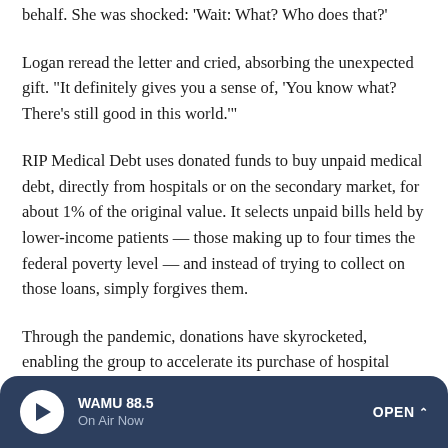behalf. She was shocked: 'Wait: What? Who does that?'
Logan reread the letter and cried, absorbing the unexpected gift. "It definitely gives you a sense of, 'You know what? There's still good in this world.'"
RIP Medical Debt uses donated funds to buy unpaid medical debt, directly from hospitals or on the secondary market, for about 1% of the original value. It selects unpaid bills held by lower-income patients — those making up to four times the federal poverty level — and instead of trying to collect on those loans, simply forgives them.
Through the pandemic, donations have skyrocketed, enabling the group to accelerate its purchase of hospital
[Figure (other): WAMU 88.5 radio player bar at the bottom of the screen. Dark navy background with rounded top corners. Contains a circular white play button with a navy triangle, station name 'WAMU 88.5', status 'On Air Now', and an 'OPEN ^' button on the right.]